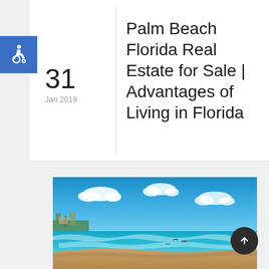[Figure (logo): Blue square with white wheelchair accessibility icon]
31
Jan 2019
Palm Beach Florida Real Estate for Sale | Advantages of Living in Florida
[Figure (photo): Tropical beach scene with turquoise ocean water, white waves, sandy beach, seagulls, and blue sky with white clouds. Palm trees and buildings visible in the background on the left.]